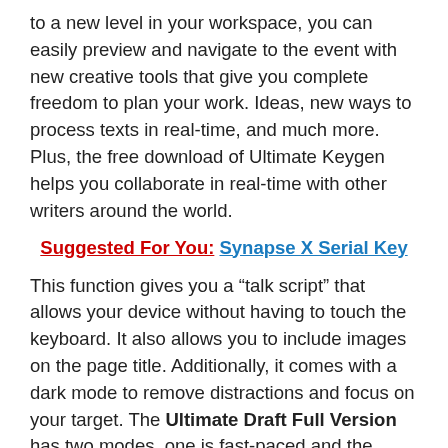to a new level in your workspace, you can easily preview and navigate to the event with new creative tools that give you complete freedom to plan your work. Ideas, new ways to process texts in real-time, and much more. Plus, the free download of Ultimate Keygen helps you collaborate in real-time with other writers around the world.
Suggested For You: Synapse X Serial Key
This function gives you a “talk script” that allows your device without having to touch the keyboard. It also allows you to include images on the page title. Additionally, it comes with a dark mode to remove distractions and focus on your target. The Ultimate Draft Full Version has two modes, one is fast-paced and the other is normal page mode. You can select them all when working with one click.
Final Draft Crack With Keygen 2022